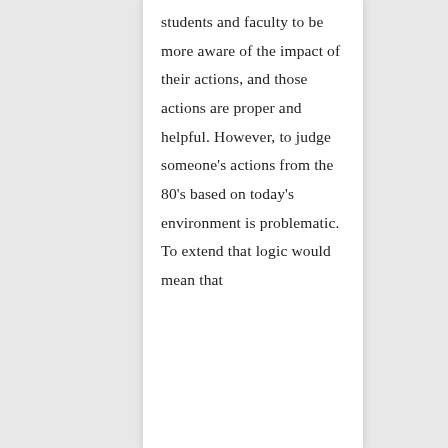students and faculty to be more aware of the impact of their actions, and those actions are proper and helpful. However, to judge someone's actions from the 80's based on today's environment is problematic. To extend that logic would mean that